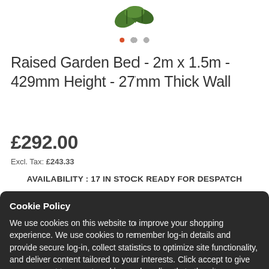[Figure (photo): Partial view of a raised garden bed product image (leaves/plant visible at top)]
Raised Garden Bed - 2m x 1.5m - 429mm Height - 27mm Thick Wall
£292.00
Excl. Tax: £243.33
AVAILABILITY : 17 IN STOCK READY FOR DESPATCH
Cookie Policy
We use cookies on this website to improve your shopping experience. We use cookies to remember log-in details and provide secure log-in, collect statistics to optimize site functionality, and deliver content tailored to your interests. Click accept to give your consent to accept cookies and go directly to the site
I accept   Read more